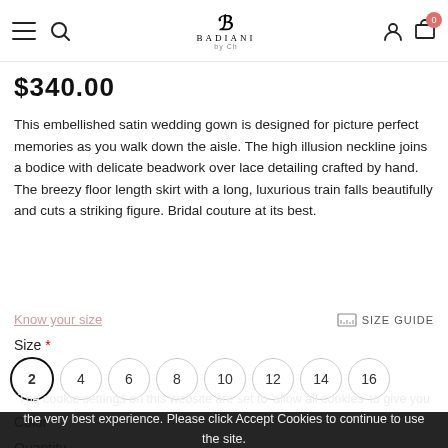BADIANI by Ch — navigation bar with hamburger, search, logo, user icon, cart (0)
$340.00
This embellished satin wedding gown is designed for picture perfect memories as you walk down the aisle. The high illusion neckline joins a bodice with delicate beadwork over lace detailing crafted by hand. The breezy floor length skirt with a long, luxurious train falls beautifully and cuts a striking figure. Bridal couture at its best.
Know your size
SIZE GUIDE
Size *
2 (selected)
4
6
8
10
12
14
16
Color
The cookie settings on this website are set to 'allow all cookies' to give you the very best experience. Please click Accept Cookies to continue to use the site.
Only at this time. Custom orders will take 5 weeks.
Quantity
PRIVACY POLICY   ACCEPT ✓